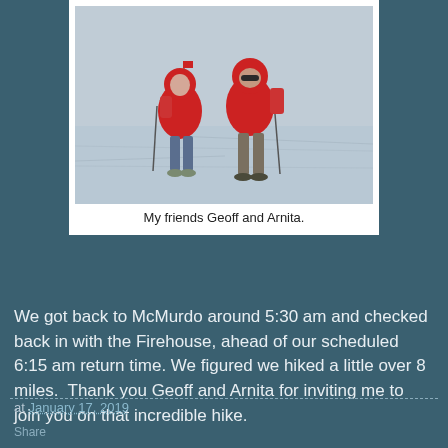[Figure (photo): Two people wearing red hooded jackets and backpacks standing on a snowy/icy landscape. A small flag or marker is visible in the background.]
My friends Geoff and Arnita.
We got back to McMurdo around 5:30 am and checked back in with the Firehouse, ahead of our scheduled 6:15 am return time. We figured we hiked a little over 8 miles.  Thank you Geoff and Arnita for inviting me to join you on that incredible hike.
at January 17, 2019
Share